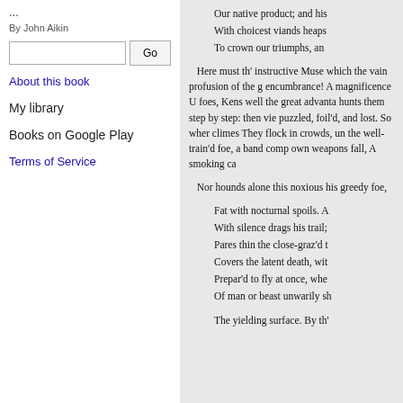...
By John Aikin
About this book
My library
Books on Google Play
Terms of Service
Our native product; and his...
With choicest viands heaps...
To crown our triumphs, an...
Here must th' instructive Muse which the vain profusion of the g encumbrance! A magnificence U foes, Kens well the great advanta hunts them step by step: then vie puzzled, foil'd, and lost. So wher climes They flock in crowds, un the well-train'd foe, a band comp own weapons fall, A smoking ca
Nor hounds alone this noxious his greedy foe,
Fat with nocturnal spoils. A
With silence drags his trail;
Pares thin the close-graz'd t
Covers the latent death, wit
Prepar'd to fly at once, whe
Of man or beast unwarily sh
The yielding surface. By th'